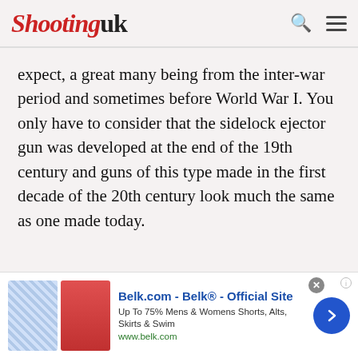Shootinguk
expect, a great many being from the inter-war period and sometimes before World War I. You only have to consider that the sidelock ejector gun was developed at the end of the 19th century and guns of this type made in the first decade of the 20th century look much the same as one made today.
[Figure (infographic): Advertisement banner for Belk.com showing two clothing items (patterned skirt and red skirt), text 'Belk.com - Belk® - Official Site', 'Up To 75% Mens & Womens Shorts, Alts, Skirts & Swim', 'www.belk.com', with a blue circular arrow button and close button.]